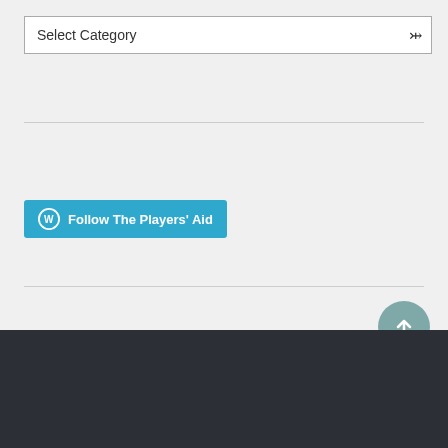[Figure (screenshot): Dropdown select box labeled 'Select Category' with a down chevron arrow on the right]
[Figure (screenshot): Blue button with WordPress icon and text 'Follow The Players' Aid']
[Figure (screenshot): Text input field with placeholder 'Enter your email address']
Email Updates
© 2022 THE PLAYERS' AID
WEBSITE BUILT WITH WORDPRESS.COM.